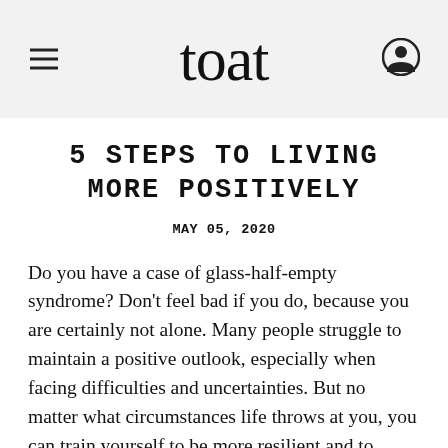toat
5 STEPS TO LIVING MORE POSITIVELY
MAY 05, 2020
Do you have a case of glass-half-empty syndrome? Don't feel bad if you do, because you are certainly not alone. Many people struggle to maintain a positive outlook, especially when facing difficulties and uncertainties. But no matter what circumstances life throws at you, you can train yourself to be more resilient and to foster a more positive mindset. Read on for a few ideas on how to live each day more